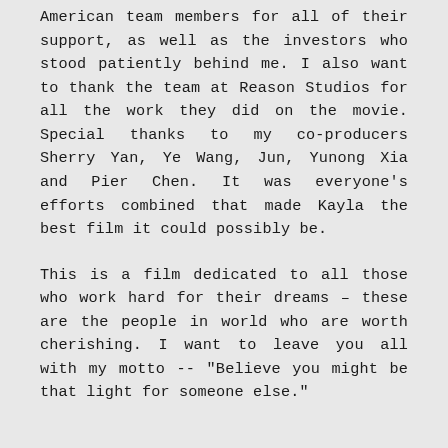American team members for all of their support, as well as the investors who stood patiently behind me. I also want to thank the team at Reason Studios for all the work they did on the movie. Special thanks to my co-producers Sherry Yan, Ye Wang, Jun, Yunong Xia and Pier Chen. It was everyone's efforts combined that made Kayla the best film it could possibly be.
This is a film dedicated to all those who work hard for their dreams – these are the people in world who are worth cherishing. I want to leave you all with my motto -- "Believe you might be that light for someone else."